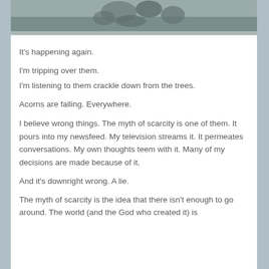[Figure (photo): Close-up photo of acorns on a surface, partially cropped at the top of the page]
It's happening again.
I'm tripping over them.
I'm listening to them crackle down from the trees.
Acorns are falling. Everywhere.
I believe wrong things. The myth of scarcity is one of them. It pours into my newsfeed. My television streams it. It permeates conversations. My own thoughts teem with it. Many of my decisions are made because of it.
And it's downright wrong. A lie.
The myth of scarcity is the idea that there isn't enough to go around. The world (and the God who created it) is